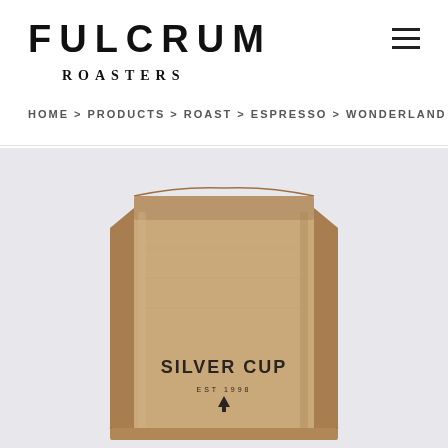FULCRUM ROASTERS
HOME > PRODUCTS > ROAST > ESPRESSO > WONDERLAND
[Figure (photo): A kraft paper coffee bag labeled SILVER CUP on a light gray background]